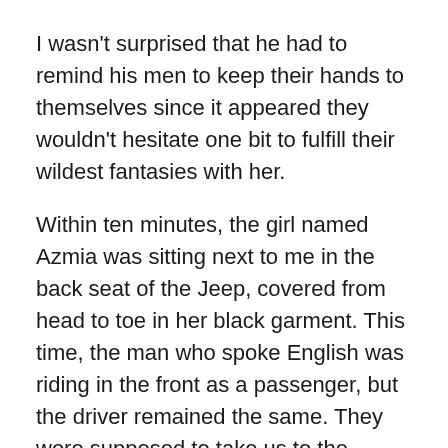I wasn't surprised that he had to remind his men to keep their hands to themselves since it appeared they wouldn't hesitate one bit to fulfill their wildest fantasies with her.
Within ten minutes, the girl named Azmia was sitting next to me in the back seat of the Jeep, covered from head to toe in her black garment. This time, the man who spoke English was riding in the front as a passenger, but the driver remained the same. They were supposed to take us to the airport in Islamabad where they believed my private jet was waiting for us. It was a three-hour drive, and if everything went as planned, we should be at the airport before sunset.
My goal was to just keep us safe for the next three hours, and then my assignment would be done. My team was already waiting for us at the airport, and they'd take over.